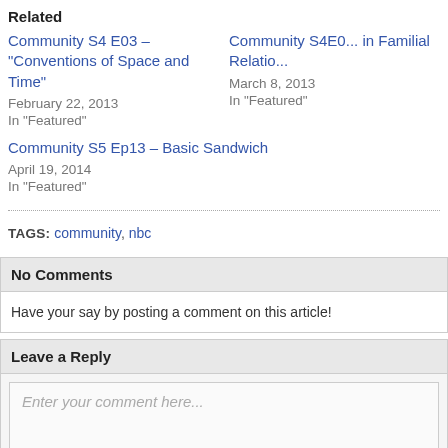Related
Community S4 E03 – "Conventions of Space and Time"
February 22, 2013
In "Featured"
Community S4E0... in Familial Relatio...
March 8, 2013
In "Featured"
Community S5 Ep13 – Basic Sandwich
April 19, 2014
In "Featured"
TAGS: community, nbc
No Comments
Have your say by posting a comment on this article!
Leave a Reply
Enter your comment here...